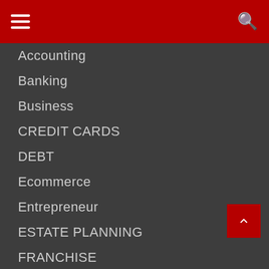menu search
Accounting
Banking
Business
CREDIT CARDS
DEBT
Ecommerce
Entrepreneur
ESTATE PLANNING
FRANCHISE
GLOBAL ECONOMY
INSURANCE
Investment
IPO'S
MARKETING